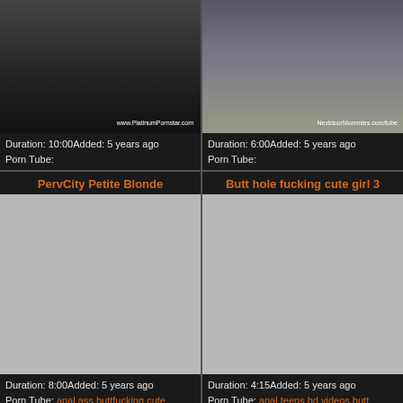[Figure (photo): Top left video thumbnail showing explicit content with watermark www.PlatinumPornstar.com]
Duration: 10:00Added: 5 years ago
Porn Tube:
[Figure (photo): Top right video thumbnail showing explicit content with watermark NextdoorMommies.com/tube]
Duration: 6:00Added: 5 years ago
Porn Tube:
PervCity Petite Blonde
Butt hole fucking cute girl 3
[Figure (photo): Middle left video thumbnail placeholder (grey)]
[Figure (photo): Middle right video thumbnail placeholder (grey)]
Duration: 8:00Added: 5 years ago
Porn Tube: anal ass buttfucking cute
Duration: 4:15Added: 5 years ago
Porn Tube: anal teens hd videos butt
PervCity Blake Rose Dirty Teen
Awesome Gay Bareback